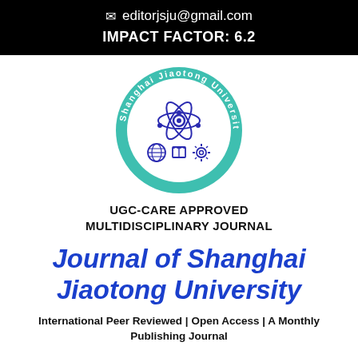✉ editorjsju@gmail.com
IMPACT FACTOR: 6.2
[Figure (logo): Shanghai Jiaotong University circular logo with teal border, atom symbol in center, globe, book and gear icons at bottom, text reading 'Shanghai Jiaotong University' around the ring]
UGC-CARE APPROVED MULTIDISCIPLINARY JOURNAL
Journal of Shanghai Jiaotong University
International Peer Reviewed | Open Access | A Monthly Publishing Journal